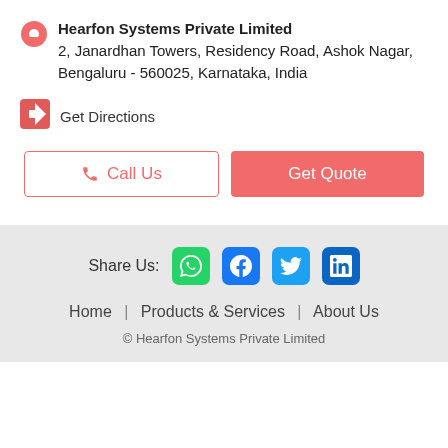Hearfon Systems Private Limited
2, Janardhan Towers, Residency Road, Ashok Nagar, Bengaluru - 560025, Karnataka, India
Get Directions
Call Us
Get Quote
Share Us:
Home | Products & Services | About Us
© Hearfon Systems Private Limited